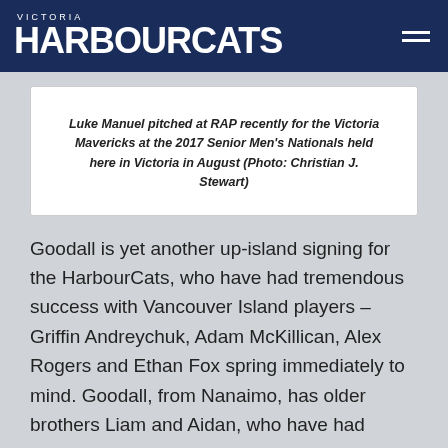VICTORIA HARBOURCATS
Luke Manuel pitched at RAP recently for the Victoria Mavericks at the 2017 Senior Men's Nationals held here in Victoria in August (Photo: Christian J. Stewart)
Goodall is yet another up-island signing for the HarbourCats, who have had tremendous success with Vancouver Island players – Griffin Andreychuk, Adam McKillican, Alex Rogers and Ethan Fox spring immediately to mind. Goodall, from Nanaimo, has older brothers Liam and Aidan, who have had tremendous collegiate success. Garrett Goodall was